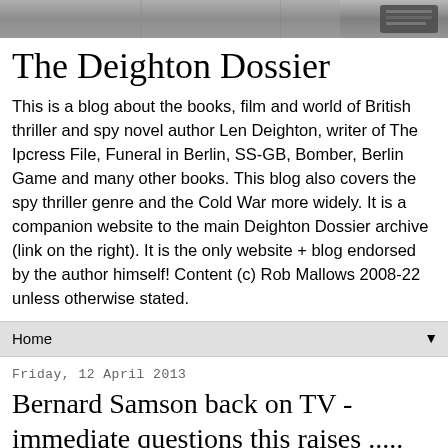[Figure (photo): Partial header image, grayscale, showing a blurred object at right edge]
The Deighton Dossier
This is a blog about the books, film and world of British thriller and spy novel author Len Deighton, writer of The Ipcress File, Funeral in Berlin, SS-GB, Bomber, Berlin Game and many other books. This blog also covers the spy thriller genre and the Cold War more widely. It is a companion website to the main Deighton Dossier archive (link on the right). It is the only website + blog endorsed by the author himself! Content (c) Rob Mallows 2008-22 unless otherwise stated.
Home ▼
Friday, 12 April 2013
Bernard Samson back on TV - immediate questions this raises .....